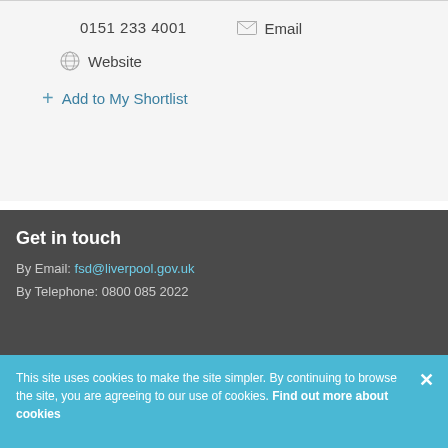0151 233 4001
Email
Website
Add to My Shortlist
Get in touch
By Email: fsd@liverpool.gov.uk
By Telephone: 0800 085 2022
This site uses cookies to make the site simpler. By continuing to browse the site, you are agreeing to our use of cookies. Find out more about cookies